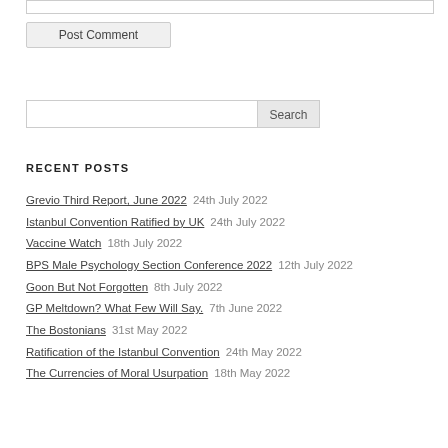Post Comment
Search
RECENT POSTS
Grevio Third Report, June 2022   24th July 2022
Istanbul Convention Ratified by UK   24th July 2022
Vaccine Watch   18th July 2022
BPS Male Psychology Section Conference 2022   12th July 2022
Goon But Not Forgotten   8th July 2022
GP Meltdown? What Few Will Say.   7th June 2022
The Bostonians   31st May 2022
Ratification of the Istanbul Convention   24th May 2022
The Currencies of Moral Usurpation   18th May 2022